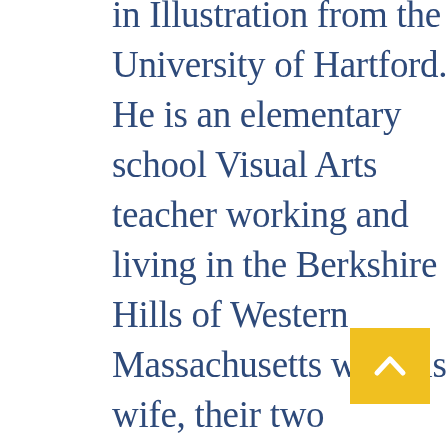in Illustration from the University of Hartford. He is an elementary school Visual Arts teacher working and living in the Berkshire Hills of Western Massachusetts with his wife, their two children, and their puppy Roxy.

Leo is the recipient of the 2021 We Need Diverse Books Mentorship with author/illustrator Mike Curato, Flamer, Henry Holt, 2021.